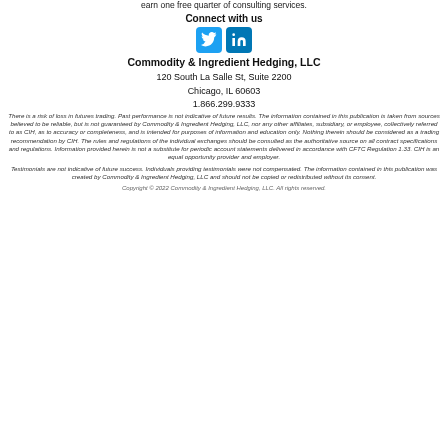earn one free quarter of consulting services.
Connect with us
[Figure (logo): Twitter and LinkedIn social media icons (blue squares with white bird and 'in' logos)]
Commodity & Ingredient Hedging, LLC
120 South La Salle St, Suite 2200
Chicago, IL 60603
1.866.299.9333
There is a risk of loss in futures trading. Past performance is not indicative of future results. The information contained in this publication is taken from sources believed to be reliable, but is not guaranteed by Commodity & Ingredient Hedging, LLC, nor any other affiliates, subsidiary, or employee, collectively referred to as CIH, as to accuracy or completeness, and is intended for purposes of information and education only. Nothing therein should be considered as a trading recommendation by CIH. The rules and regulations of the individual exchanges should be consulted as the authoritative source on all contract specifications and regulations. Information provided herein is not a substitute for periodic account statements delivered in accordance with CFTC Regulation 1.33. CIH is an equal opportunity provider and employer.
Testimonials are not indicative of future success. Individuals providing testimonials were not compensated. The information contained in this publication was created by Commodity & Ingredient Hedging, LLC and should not be copied or redistributed without its consent.
Copyright © 2022 Commodity & Ingredient Hedging, LLC. All rights reserved.